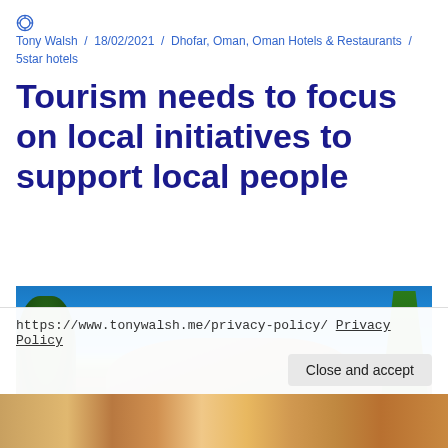Tony Walsh / 18/02/2021 / Dhofar, Oman, Oman Hotels & Restaurants / 5star hotels
Tourism needs to focus on local initiatives to support local people
[Figure (photo): Landscape photo showing rocky hills with trees and blue sky in Oman/Dhofar region]
https://www.tonywalsh.me/privacy-policy/ Privacy Policy
[Figure (photo): Bottom strip of a photo showing people in colorful clothing]